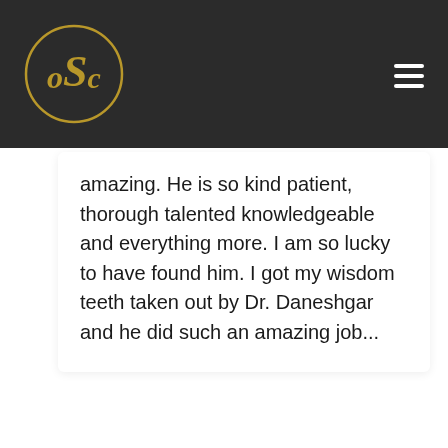[Figure (logo): OSC dental/medical practice logo — gold circular logo with letters OSC on dark background header]
amazing. He is so kind patient, thorough talented knowledgeable and everything more. I am so lucky to have found him. I got my wisdom teeth taken out by Dr. Daneshgar and he did such an amazing job...
[Figure (photo): User avatar — pink/magenta circle with generic person silhouette icon]
[Figure (logo): Yelp logo — red square with white Yelp burst icon]
[Figure (logo): Chat widget — black circle with white speech bubble/chat icon]
[Figure (logo): Accessibility icon — blue circle with person/wheelchair accessibility symbol]
[Figure (other): Star rating — partial row of gold/yellow stars at bottom]